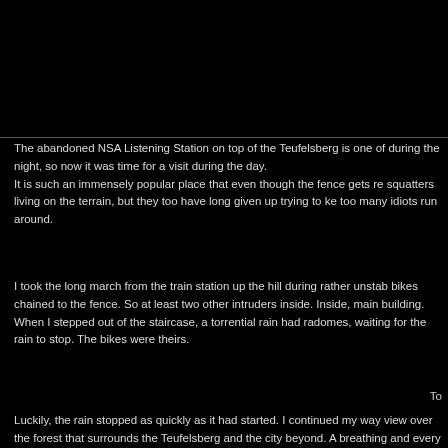[Figure (photo): Black rectangle representing the top portion of the page, likely the top of an image cut off.]
The abandoned NSA Listening Station on top of the Teufelsberg is one of during the night, so now it was time for a visit during the day. It is such an immensely popular place that even though the fence gets re squatters living on the terrain, but they too have long given up trying to ke too many idiots run around.
I took the long march from the train station up the hill during rather unstab bikes chained to the fence. So at least two other intruders inside. Inside, main building. When I stepped out of the staircase, a torrential rain had radomes, waiting for the rain to stop. The bikes were theirs.
To
Luckily, the rain stopped as quickly as it had started. I continued my way view over the forest that surrounds the Teufelsberg and the city beyond. A breathing and every step of my feet and click of my shutter echoed from al